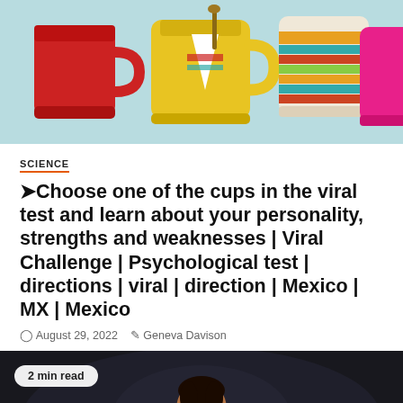[Figure (illustration): Illustration of colorful cups/mugs on a teal/mint background: red cup on left, yellow and white decorated mug in center, colorful striped cup on right, pink mug partially visible.]
SCIENCE
➤Choose one of the cups in the viral test and learn about your personality, strengths and weaknesses | Viral Challenge | Psychological test | directions | viral | direction | Mexico | MX | Mexico
August 29, 2022   Geneva Davison
[Figure (photo): Photo of a smiling female soccer player with arms outstretched, in a dark stadium setting. A '2 min read' badge overlays the top-left corner. An orange back-to-top button is in the bottom-right corner.]